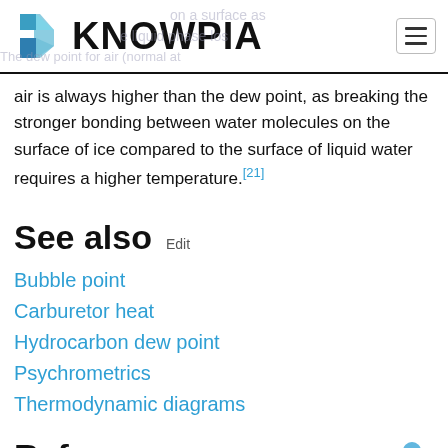KNOWPIA
air is always higher than the dew point, as breaking the stronger bonding between water molecules on the surface of ice compared to the surface of liquid water requires a higher temperature.[21]
See also  Edit
Bubble point
Carburetor heat
Hydrocarbon dew point
Psychrometrics
Thermodynamic diagrams
References  Edit
^ "How To: Eliminate Window Condensation". 15 November